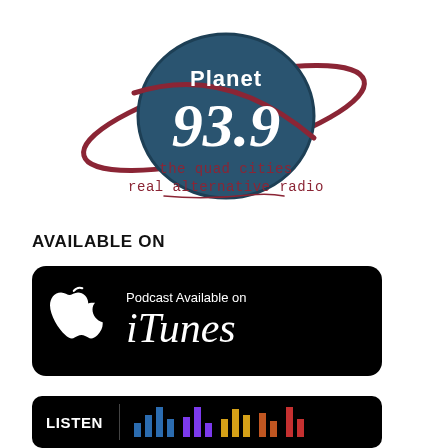[Figure (logo): Planet 93.9 radio station logo — dark teal oval with '93.9' in large stylized font, 'Planet' text above, dark red orbital rings around the oval, and tagline 'the quad cities real alternative radio' in dark red typewriter-style font below]
AVAILABLE ON
[Figure (logo): Black rounded rectangle badge: Apple logo on left, 'Podcast Available on' in small text and 'iTunes' in large italic font on right, all in white on black]
[Figure (logo): Black rounded rectangle badge: 'LISTEN' text on left, colorful vertical bars (Stitcher logo) on right, partially cut off at bottom of page]